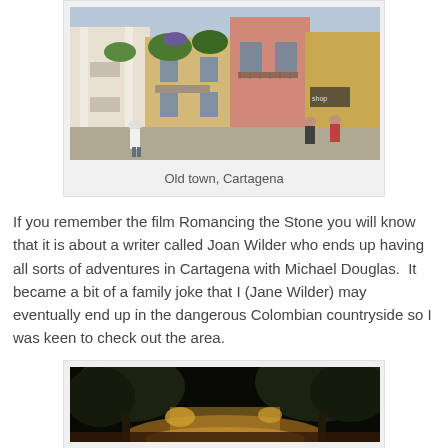[Figure (photo): Street view of old town Cartagena showing colorful colonial buildings with balconies, hanging flower baskets, and people walking on the street]
Old town, Cartagena
If you remember the film Romancing the Stone you will know that it is about a writer called Joan Wilder who ends up having all sorts of adventures in Cartagena with Michael Douglas.  It became a bit of a family joke that I (Jane Wilder) may eventually end up in the dangerous Colombian countryside so I was keen to check out the area.
[Figure (photo): Nighttime photo of Cartagena street or plaza with illuminated trees and golden light]